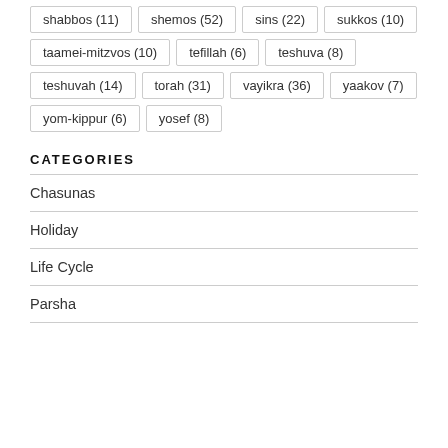shabbos (11)
shemos (52)
sins (22)
sukkos (10)
taamei-mitzvos (10)
tefillah (6)
teshuva (8)
teshuvah (14)
torah (31)
vayikra (36)
yaakov (7)
yom-kippur (6)
yosef (8)
CATEGORIES
Chasunas
Holiday
Life Cycle
Parsha